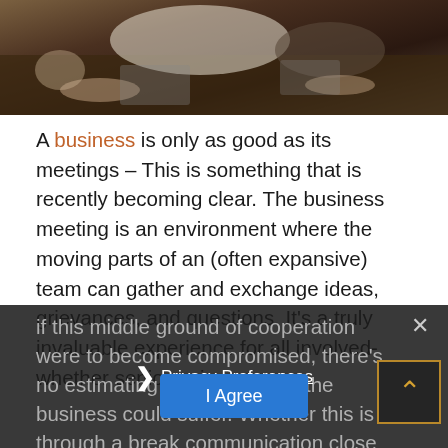[Figure (photo): People at a meeting around a table, viewed from above, with hands visible on a dark wooden table surface.]
A business is only as good as its meetings – This is something that is recently becoming clear. The business meeting is an environment where the moving parts of an (often expansive) team can gather and exchange ideas, grievances, and questions. It's a truly invaluable experience for all involved- whether senior or junior.
if this middle ground of cooperation were to become compromised, there's no estimating to what degree the business could suffer. Whether this is through a break... communication... close of trusted on... unity... all...